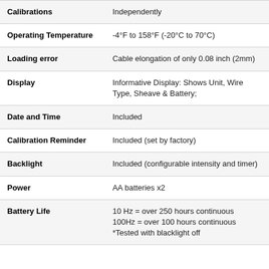| Feature | Description |
| --- | --- |
| Calibrations | Independently |
| Operating Temperature | -4°F to 158°F (-20°C to 70°C) |
| Loading error | Cable elongation of only 0.08 inch (2mm) |
| Display | Informative Display: Shows Unit, Wire Type, Sheave & Battery; |
| Date and Time | Included |
| Calibration Reminder | Included (set by factory) |
| Backlight | Included (configurable intensity and timer) |
| Power | AA batteries x2 |
| Battery Life | 10 Hz = over 250 hours continuous
100Hz = over 100 hours continuous
*Tested with blacklight off |